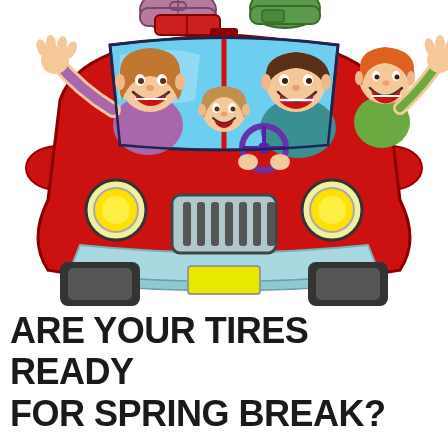[Figure (illustration): Cartoon illustration of a happy family of four in a red car viewed from the front. A woman waves from the left window, a child peeks from the center, a man drives from the right, and a boy waves from outside the car on the right. Luggage is strapped to the roof of the car. The car has yellow headlights, a gray grille, a light blue bumper, dark tires, and a yellow license plate area.]
ARE YOUR TIRES READY FOR SPRING BREAK?